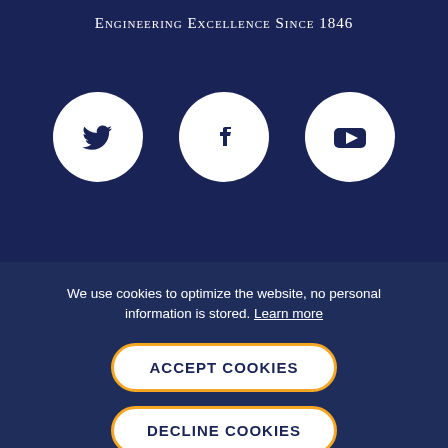Engineering Excellence Since 1846
[Figure (illustration): Three white circular social media icons on dark navy background: Twitter bird icon, Facebook 'f' icon, and YouTube play button icon]
We use cookies to optimize the website, no personal information is stored. Learn more
ACCEPT COOKIES
DECLINE COOKIES